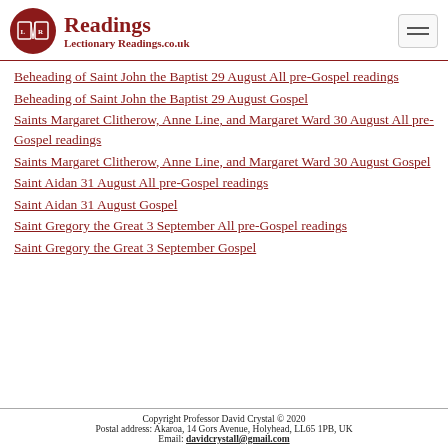Readings — LectionaryReadings.co.uk
Beheading of Saint John the Baptist 29 August All pre-Gospel readings
Beheading of Saint John the Baptist 29 August Gospel
Saints Margaret Clitherow, Anne Line, and Margaret Ward 30 August All pre-Gospel readings
Saints Margaret Clitherow, Anne Line, and Margaret Ward 30 August Gospel
Saint Aidan 31 August All pre-Gospel readings
Saint Aidan 31 August Gospel
Saint Gregory the Great 3 September All pre-Gospel readings
Saint Gregory the Great 3 September Gospel
Copyright Professor David Crystal © 2020
Postal address: Akaroa, 14 Gors Avenue, Holyhead, LL65 1PB, UK
Email: davidcrystall@gmail.com